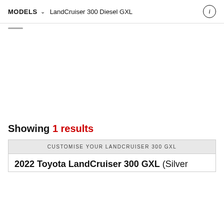MODELS  LandCruiser 300 Diesel GXL
Showing 1 results
| CUSTOMISE YOUR LANDCRUISER 300 GXL |
| --- |
| 2022 Toyota LandCruiser 300 GXL (Silver |